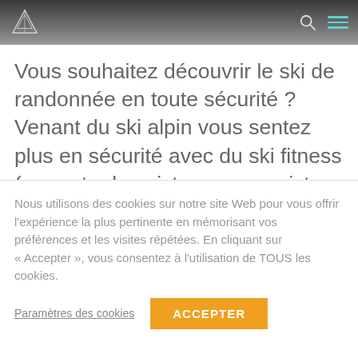Vous souhaitez découvrir le ski de randonnée en toute sécurité ? Venant du ski alpin vous sentez plus en sécurité avec du ski fitness (remonter les pistes ou une piste particulièrement dédiée au ski de randonnée sur un domaine skiable)? Découvrez 10 stations de ski...
Nous utilisons des cookies sur notre site Web pour vous offrir l'expérience la plus pertinente en mémorisant vos préférences et les visites répétées. En cliquant sur « Accepter », vous consentez à l'utilisation de TOUS les cookies.
Paramètres des cookies
ACCEPTER